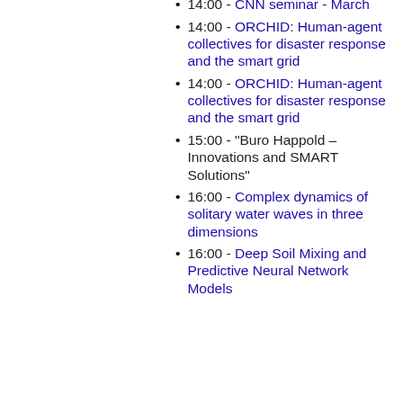materials for nucleus pulposus tissue engineering/Solid bonding of aluminium scrap
14:00 - CNN seminar - March
14:00 - ORCHID: Human-agent collectives for disaster response and the smart grid
14:00 - ORCHID: Human-agent collectives for disaster response and the smart grid
15:00 - “Buro Happold – Innovations and SMART Solutions”
16:00 - Complex dynamics of solitary water waves in three dimensions
16:00 - Deep Soil Mixing and Predictive Neural Network Models